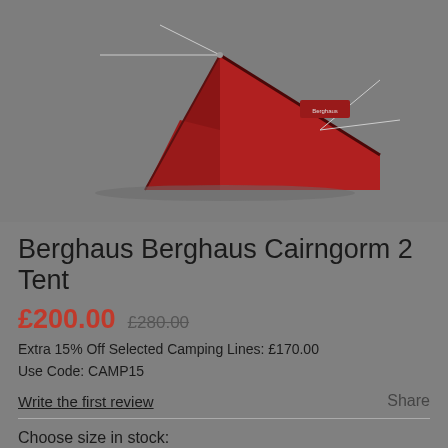[Figure (photo): Red Berghaus Cairngorm 2 tent on a grey background, showing the tent pitched with poles and guy lines visible]
Berghaus Berghaus Cairngorm 2 Tent
£200.00  £280.00
Extra 15% Off Selected Camping Lines: £170.00
Use Code: CAMP15
Write the first review
Share
Choose size in stock: